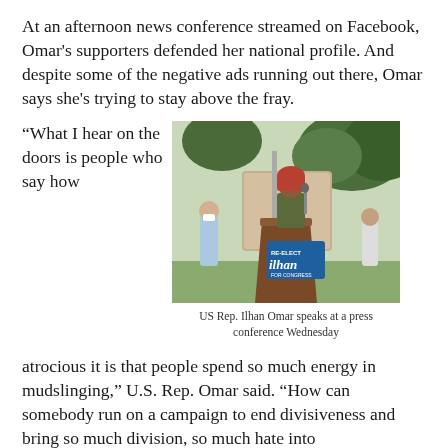At an afternoon news conference streamed on Facebook, Omar's supporters defended her national profile. And despite some of the negative ads running out there, Omar says she's trying to stay above the fray.
“What I hear on the doors is people who say how
[Figure (photo): US Rep. Ilhan Omar speaking at a podium/lectern with a 'Re-Elect Ilhan for Congress' sign, at an outdoor press conference. She is wearing a red headscarf and olive jacket. Other people are visible in the background.]
US Rep. Ilhan Omar speaks at a press conference Wednesday
atrocious it is that people spend so much energy in mudslinging,” U.S. Rep. Omar said. “How can somebody run on a campaign to end divisiveness and bring so much division, so much hate into